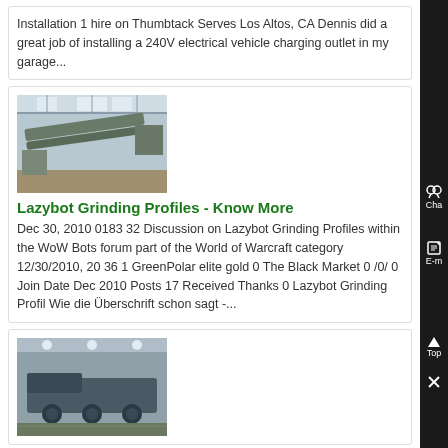Installation 1 hire on Thumbtack Serves Los Altos, CA Dennis did a great job of installing a 240V electrical vehicle charging outlet in my garage...
[Figure (photo): Industrial warehouse interior with conveyor or mining equipment]
Lazybot Grinding Profiles - Know More
Dec 30, 2010 0183 32 Discussion on Lazybot Grinding Profiles within the WoW Bots forum part of the World of Warcraft category 12/30/2010, 20 36 1 GreenPolar elite gold 0 The Black Market 0 /0/ 0 Join Date Dec 2010 Posts 17 Received Thanks 0 Lazybot Grinding Profil Wie die Überschrift schon sagt -...
[Figure (photo): Industrial vehicle or heavy machinery in a warehouse]